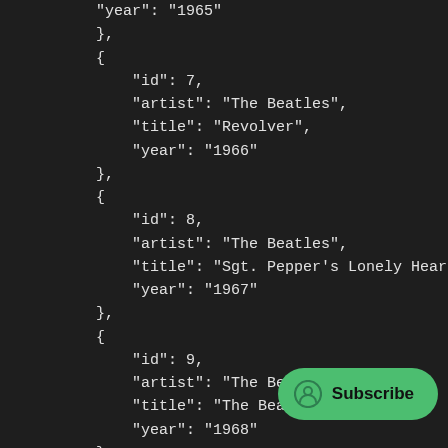"year": "1965"
    },
    {
        "id": 7,
        "artist": "The Beatles",
        "title": "Revolver",
        "year": "1966"
    },
    {
        "id": 8,
        "artist": "The Beatles",
        "title": "Sgt. Pepper's Lonely Hearts
        "year": "1967"
    },
    {
        "id": 9,
        "artist": "The Beatles",
        "title": "The Beatle...)",
        "year": "1968"
    },
    {
        "id": ...